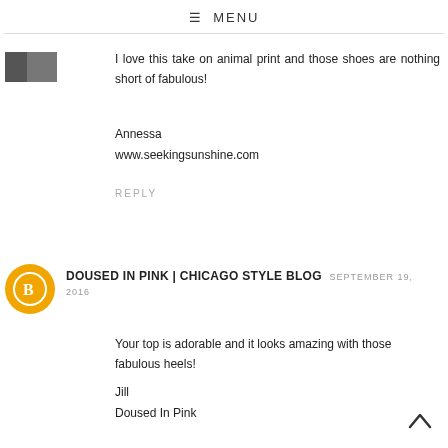≡ MENU
[Figure (photo): Small thumbnail avatar image in top left corner]
I love this take on animal print and those shoes are nothing short of fabulous!
Annessa
www.seekingsunshine.com
REPLY
[Figure (logo): Orange circle Blogger avatar icon with white B letter]
DOUSED IN PINK | CHICAGO STYLE BLOG SEPTEMBER 19, 2016
Your top is adorable and it looks amazing with those fabulous heels!
Jill
Doused In Pink